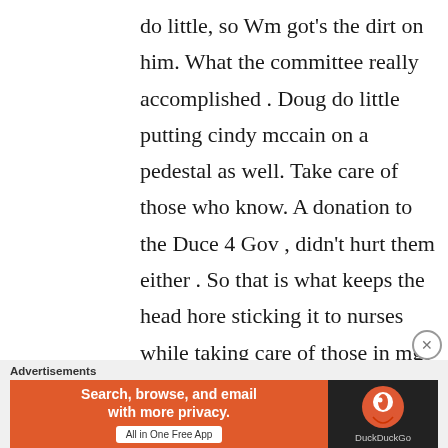do little, so Wm got's the dirt on him. What the committee really accomplished . Doug do little putting cindy mccain on a pedestal as well. Take care of those who know. A donation to the Duce 4 Gov , didn't hurt them either . So that is what keeps the head hore sticking it to nurses while taking care of those in mgt . Not what the money was intended
[Figure (infographic): DuckDuckGo advertisement banner: orange left panel with text 'Search, browse, and email with more privacy. All in One Free App' and dark right panel with DuckDuckGo logo and name. 'Advertisements' label above.]